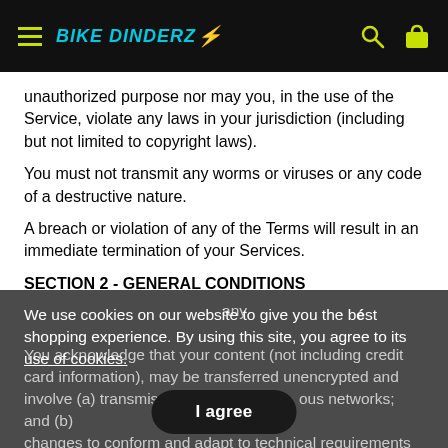BIKE DINDERZ
unauthorized purpose nor may you, in the use of the Service, violate any laws in your jurisdiction (including but not limited to copyright laws).
You must not transmit any worms or viruses or any code of a destructive nature.
A breach or violation of any of the Terms will result in an immediate termination of your Services.
SECTION 2 - GENERAL CONDITIONS
We use cookies on our website to give you the best shopping experience. By using this site, you agree to its use of cookies.
any ... that your content (not including credit card information), may be transferred unencrypted and involve (a) transmission ... ous networks; and (b) changes to conform and adapt to technical requirements